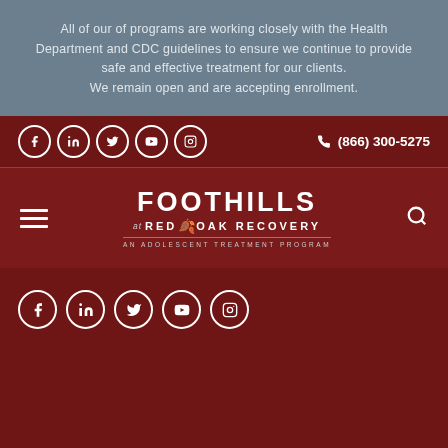All of our of programs are working closely with the Health Department and CDC guidelines to ensure we continue to provide safe and effective treatment for our clients. We remain open and are accepting enrollment.
Social media icons: Facebook, LinkedIn, Twitter, YouTube, Instagram | (866) 300-5275
[Figure (logo): Foothills at Red Oak Recovery - An Adolescent Treatment Program logo]
Social media icons: Facebook, LinkedIn, Twitter, YouTube, Instagram